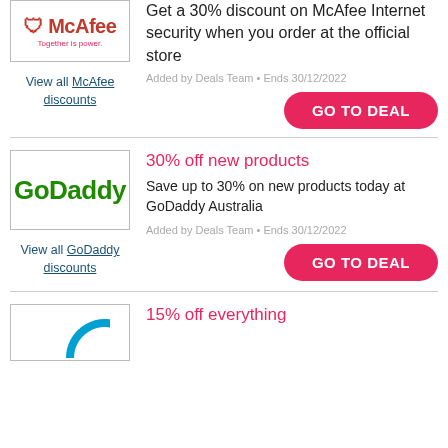[Figure (logo): McAfee logo - red shield with text 'Together is power.']
View all McAfee discounts
Get a 30% discount on McAfee Internet security when you order at the official store
Added by Deals Team • Ends 30/12/2022
GO TO DEAL
[Figure (logo): GoDaddy logo in green bold text]
View all GoDaddy discounts
30% off new products
Save up to 30% on new products today at GoDaddy Australia
Added by Deals Team • Ends 30/12/2022
GO TO DEAL
[Figure (logo): Partial logo with blue circle/arc shape]
15% off everything